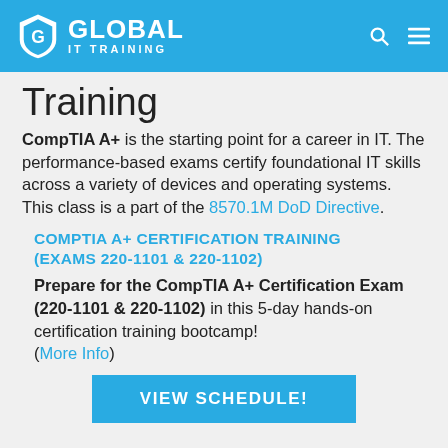GLOBAL IT TRAINING
Training
CompTIA A+ is the starting point for a career in IT. The performance-based exams certify foundational IT skills across a variety of devices and operating systems. This class is a part of the 8570.1M DoD Directive.
COMPTIA A+ CERTIFICATION TRAINING (EXAMS 220-1101 & 220-1102)
Prepare for the CompTIA A+ Certification Exam (220-1101 & 220-1102) in this 5-day hands-on certification training bootcamp! (More Info)
VIEW SCHEDULE!